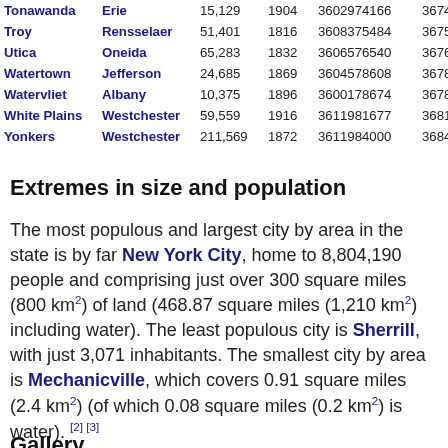| City | County | Population | Year inc. | FIPS code | FIPS code2 |
| --- | --- | --- | --- | --- | --- |
| Tonawanda | Erie | 15,129 | 1904 | 3602974166 | 367416 |
| Troy | Rensselaer | 51,401 | 1816 | 3608375484 | 367548 |
| Utica | Oneida | 65,283 | 1832 | 3606576540 | 367654 |
| Watertown | Jefferson | 24,685 | 1869 | 3604578608 | 367860 |
| Watervliet | Albany | 10,375 | 1896 | 3600178674 | 367860 |
| White Plains | Westchester | 59,559 | 1916 | 3611981677 | 368167 |
| Yonkers | Westchester | 211,569 | 1872 | 3611984000 | 368400 |
Extremes in size and population
The most populous and largest city by area in the state is by far New York City, home to 8,804,190 people and comprising just over 300 square miles (800 km²) of land (468.87 square miles (1,210 km²) including water). The least populous city is Sherrill, with just 3,071 inhabitants. The smallest city by area is Mechanicville, which covers 0.91 square miles (2.4 km²) (of which 0.08 square miles (0.2 km²) is water). [2] [3]
Gallery